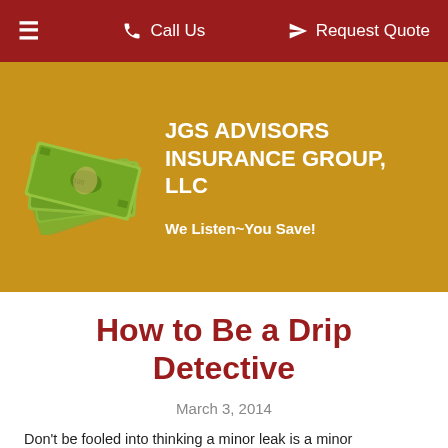≡   Call Us   Request Quote
[Figure (logo): Money pile illustration (stacked US dollar bills) used as company logo image for JGS Advisors Insurance Group, LLC]
JGS ADVISORS INSURANCE GROUP, LLC
We Listen~You Save!
How to Be a Drip Detective
March 3, 2014
Don't be fooled into thinking a minor leak is a minor